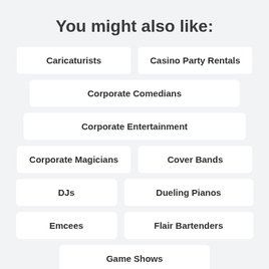You might also like:
Caricaturists
Casino Party Rentals
Corporate Comedians
Corporate Entertainment
Corporate Magicians
Cover Bands
DJs
Dueling Pianos
Emcees
Flair Bartenders
Game Shows